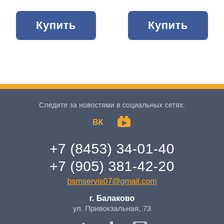Купить (button 1)
Купить (button 2)
Следите за новостями в социальных сетях:
+7 (8453) 34-01-40
+7 (905) 381-42-20
bsmservis07@gmail.com
г. Балаково
ул. Привокзальная, 73